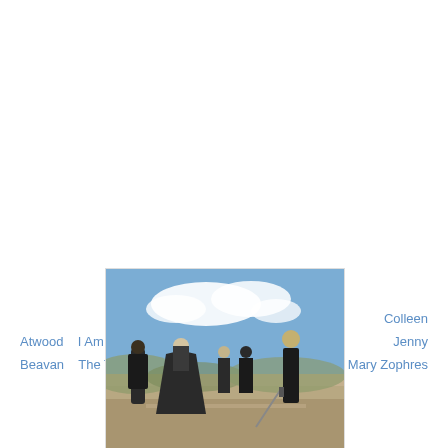Colleen
Atwood   I Am Love   Antonella Cannarozzi                      Jenny
Beavan   The Tempest   Sandy Powell                Mary Zophres
[Figure (photo): Outdoor scene in a desert/arid landscape under a partly cloudy sky. Five people dressed in dark, medieval-style black costumes. A woman in a sweeping dark gown faces a man on the right who holds a sword, with three other figures in the background.]